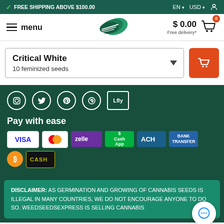✓ FREE SHIPPING ABOVE $100.00  EN ▾  USD ▾  🧑
[Figure (screenshot): Navigation bar with hamburger menu icon, 'menu' text, seed company logo (green leaf-like shape), cart showing $0.00 and Free delivery*]
Critical White
10 feminized seeds
[Figure (infographic): Social media icons: Instagram, Twitter, Pinterest, a circular icon, Lfly]
Pay with ease
[Figure (infographic): Payment method icons: VISA, Mastercard, Zelle, Cash App, ACH, Bank Transfer, Bitcoin, CASH]
DISCLAIMER: AS GERMINATION AND GROWING OF CANNABIS SEEDS IS ILLEGAL IN MANY COUNTRIES, WE DO NOT ENCOURAGE ANYONE TO DO SO. WEEDSEEDSEXPRESS IS SELLING CANNABIS